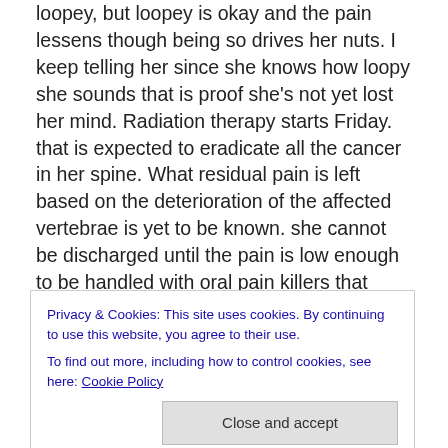loopey, but loopey is okay and the pain lessens though being so drives her nuts. I keep telling her since she knows how loopy she sounds that is proof she's not yet lost her mind. Radiation therapy starts Friday. that is expected to eradicate all the cancer in her spine. What residual pain is left based on the deterioration of the affected vertebrae is yet to be known. she cannot be discharged until the pain is low enough to be handled with oral pain killers that would make her a lump in a chair.
We are just taking it one step at a time. My mum will indicate when enough is enough, but for now she wants
Privacy & Cookies: This site uses cookies. By continuing to use this website, you agree to their use.
To find out more, including how to control cookies, see here: Cookie Policy
without your mum is just too terrible to contemplate.